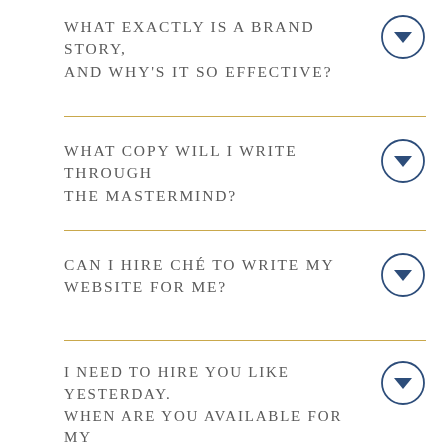WHAT EXACTLY IS A BRAND STORY, AND WHY'S IT SO EFFECTIVE?
WHAT COPY WILL I WRITE THROUGH THE MASTERMIND?
CAN I HIRE CHÉ TO WRITE MY WEBSITE FOR ME?
I NEED TO HIRE YOU LIKE YESTERDAY. WHEN ARE YOU AVAILABLE FOR MY PROJECT?